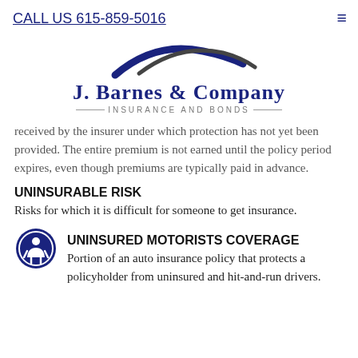CALL US 615-859-5016
[Figure (logo): J. Barnes & Company Insurance and Bonds logo with swoosh arc above company name]
received by the insurer under which protection has not yet been provided. The entire premium is not earned until the policy period expires, even though premiums are typically paid in advance.
UNINSURABLE RISK
Risks for which it is difficult for someone to get insurance.
UNINSURED MOTORISTS COVERAGE
Portion of an auto insurance policy that protects a policyholder from uninsured and hit-and-run drivers.